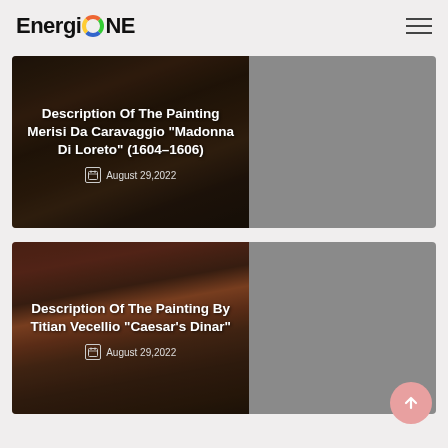EnergiONE
[Figure (photo): Card with dark Caravaggio-style painting on left and gray panel on right, titled 'Description Of The Painting Merisi Da Caravaggio “Madonna Di Loreto” (1604–1606)', dated August 29, 2022]
[Figure (photo): Card with dark Titian-style painting on left (warm red/brown tones with figures) and gray panel on right, titled 'Description Of The Painting By Titian Vecellio “Caesar’s Dinar”', dated August 29, 2022]